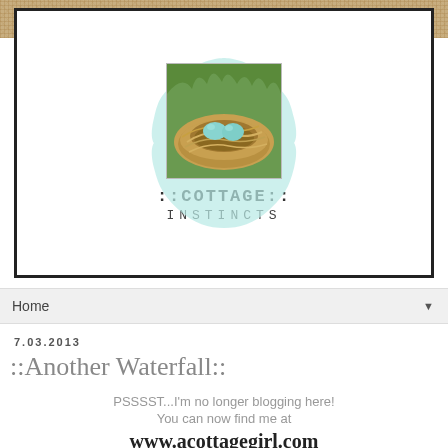[Figure (logo): Cottage Instincts blog logo: a bird's nest with two blue eggs on a light blue badge shape, with text '::COTTAGE:: INSTINCTS' below, inside a white rectangle with black border, on a burlap textured background]
Home
7.03.2013
::Another Waterfall::
PSSSST...I'm no longer blogging here! You can now find me at www.acottagegirl.com